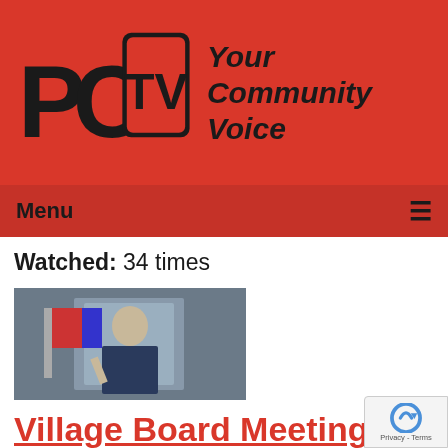[Figure (logo): PCTV logo with text 'Your Community Voice' on red background header bar]
Menu ≡
Watched: 34 times
[Figure (photo): Thumbnail photo of a man in a suit speaking at a podium]
Village Board Meeting of 03-09-20
Airdate: 03/09/2020
Guests: Peter Harckham